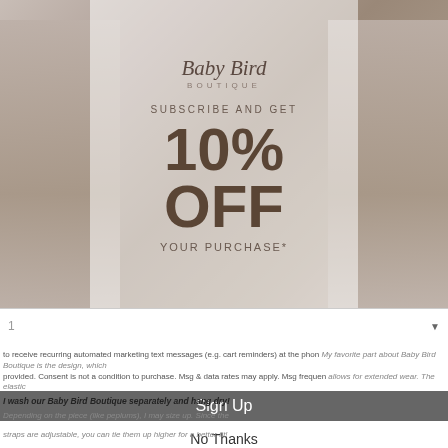[Figure (photo): Baby Bird Boutique promotional popup showing two babies sitting side by side, with a semi-transparent overlay panel in the center displaying a subscription discount offer]
Baby Bird BOUTIQUE
SUBSCRIBE AND GET
10% OFF
YOUR PURCHASE*
to receive recurring automated marketing text messages (e.g. cart reminders) at the phone number provided. Consent is not a condition to purchase. Msg & data rates may apply. Msg frequency varies. Reply HELP for help and STOP to cancel. View our Terms of Service and Privacy Policy.
My favorite part about Baby Bird Boutique is the design, which allows for extended wear. The elastic back and adjustable straps? Yes please!
I wash our Baby Bird Boutique separately and hang dry!
Depending on the piece (like peplums), I may size up. Since the straps are adjustable, you can tie them up higher for a better fit!
Sign Up
No Thanks